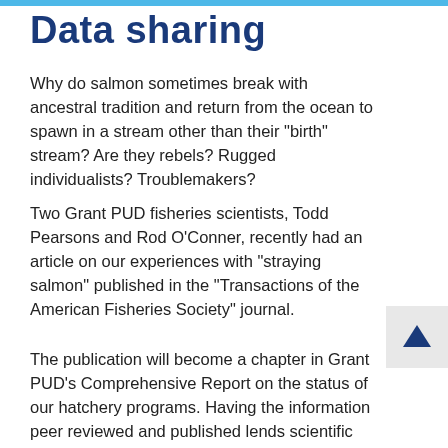Data sharing
Why do salmon sometimes break with ancestral tradition and return from the ocean to spawn in a stream other than their "birth" stream? Are they rebels? Rugged individualists? Troublemakers?
Two Grant PUD fisheries scientists, Todd Pearsons and Rod O'Conner, recently had an article on our experiences with "straying salmon" published in the "Transactions of the American Fisheries Society" journal.
The publication will become a chapter in Grant PUD's Comprehensive Report on the status of our hatchery programs. Having the information peer reviewed and published lends scientific credibility to our efforts," says co-author Rod.
"Straying occurs when a returning salmon ends up